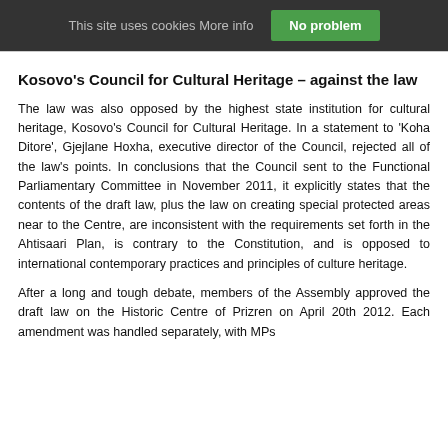This site uses cookies More info | No problem
Kosovo's Council for Cultural Heritage – against the law
The law was also opposed by the highest state institution for cultural heritage, Kosovo's Council for Cultural Heritage. In a statement to 'Koha Ditore', Gjejlane Hoxha, executive director of the Council, rejected all of the law's points. In conclusions that the Council sent to the Functional Parliamentary Committee in November 2011, it explicitly states that the contents of the draft law, plus the law on creating special protected areas near to the Centre, are inconsistent with the requirements set forth in the Ahtisaari Plan, is contrary to the Constitution, and is opposed to international contemporary practices and principles of culture heritage.
After a long and tough debate, members of the Assembly approved the draft law on the Historic Centre of Prizren on April 20th 2012. Each amendment was handled separately, with MPs